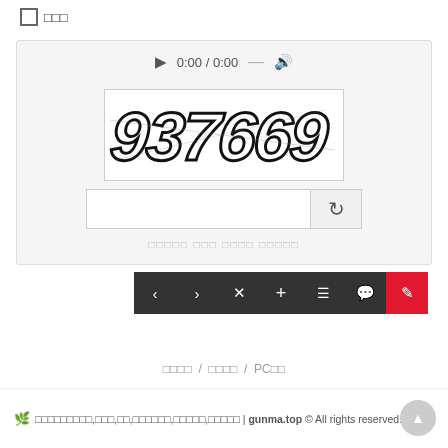□ □□□
[Figure (screenshot): CAPTCHA widget with audio player showing 0:00 / 0:00, a distorted number captcha image showing '937669', an input field with a refresh button, and verification text below]
[Figure (screenshot): Navigation toolbar with dark background buttons: left arrow, right arrow, X, plus, hamburger menu, speech bubble, and red pencil/edit button]
□□□□ / □□□□ / PC□□
🌿 □□□□□□□□□,□□□,□□,□□□□□□,□□□□□,□□□□□ | gunma.top © All rights reserved.